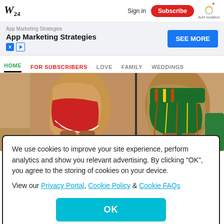W24 | Sign in | Subscribe | Add location
[Figure (screenshot): Advertisement banner: 'App Marketing Strategies' with 'SEE MORE' button]
HOME | FOR SUBSCRIBERS | LOVE | FAMILY | WEDDINGS
[Figure (photo): Photo of cheerleaders in red and green uniforms from waist down on a gym floor]
We use cookies to improve your site experience, perform analytics and show you relevant advertising. By clicking "OK", you agree to the storing of cookies on your device. View our Privacy Portal, Cookie Policy & Cookie FAQs
OK